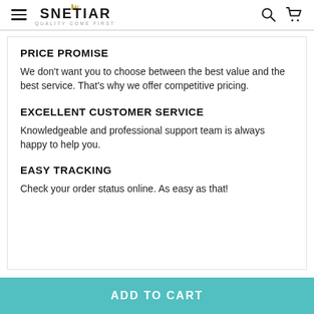SNETIARA QUALITY COME FIRST
PRICE PROMISE
We don't want you to choose between the best value and the best service. That's why we offer competitive pricing.
EXCELLENT CUSTOMER SERVICE
Knowledgeable and professional support team is always happy to help you.
EASY TRACKING
Check your order status online. As easy as that!
ADD TO CART